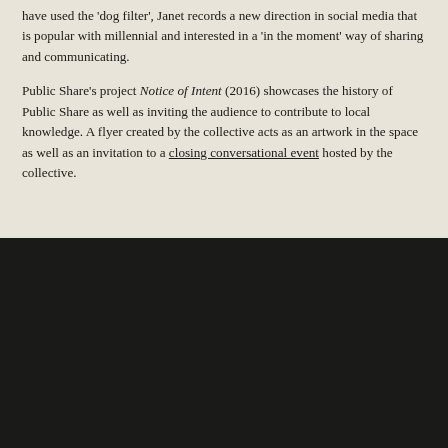have used the 'dog filter', Janet records a new direction in social media that is popular with millennial and interested in a 'in the moment' way of sharing and communicating.
Public Share's project Notice of Intent (2016) showcases the history of Public Share as well as inviting the audience to contribute to local knowledge. A flyer created by the collective acts as an artwork in the space as well as an invitation to a closing conversational event hosted by the collective.
[Figure (photo): Dark/black rectangle occupying the lower half of the page, likely a photograph or image that is very dark or not fully visible.]